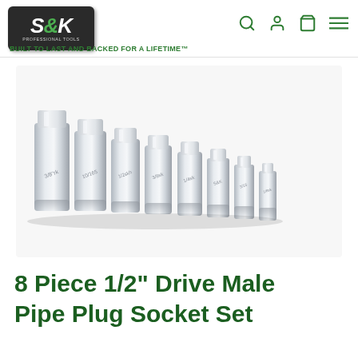SK Professional Tools — BUILT TO LAST AND BACKED FOR A LIFETIME™
[Figure (photo): Eight chrome-plated male pipe plug sockets arranged in a row from largest to smallest on a light grey background]
8 Piece 1/2" Drive Male Pipe Plug Socket Set